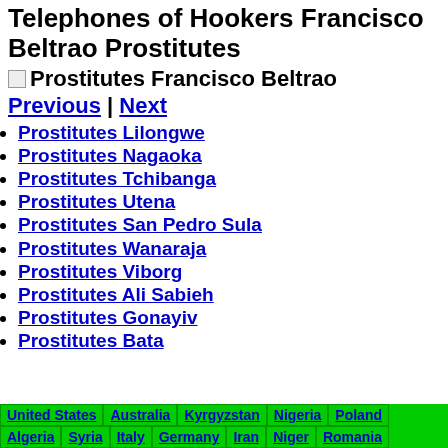Telephones of Hookers Francisco Beltrao Prostitutes
[Figure (other): Broken image placeholder for Prostitutes Francisco Beltrao]
Previous | Next
Prostitutes Lilongwe
Prostitutes Nagaoka
Prostitutes Tchibanga
Prostitutes Utena
Prostitutes San Pedro Sula
Prostitutes Wanaraja
Prostitutes Viborg
Prostitutes Ali Sabieh
Prostitutes Gonayiv
Prostitutes Bata
United States | Australia | Kyrgyzstan | Nigeria | Poland | Algeria | Syria | Italy | Germany | Iran | Niger | Romania